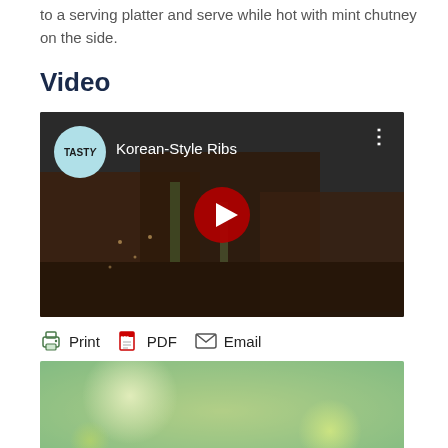to a serving platter and serve while hot with mint chutney on the side.
Video
[Figure (screenshot): YouTube-style video thumbnail showing Korean-Style Ribs food video from Tasty channel, with a dark food background, a light blue Tasty logo badge in the top left, video title 'Korean-Style Ribs', three-dot menu in top right, and a red play button in the center.]
[Figure (infographic): Action bar with Print, PDF, and Email options shown as icon+text links]
[Figure (photo): A blurred green/yellow bokeh background image, partially visible at the bottom of the page.]